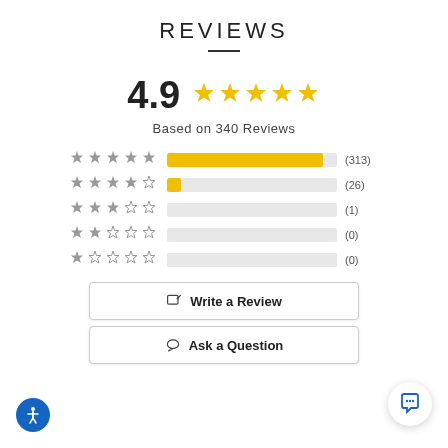REVIEWS
[Figure (infographic): Rating display showing 4.9 out of 5 stars with 5 gold stars, text: Based on 340 Reviews, and a bar chart breakdown: 5-star (313), 4-star (26), 3-star (1), 2-star (0), 1-star (0)]
Based on 340 Reviews
[Figure (bar-chart): Review breakdown by star rating]
Write a Review
Ask a Question